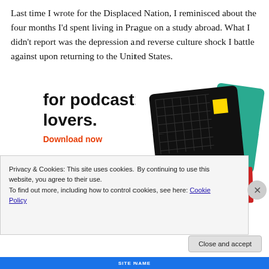Last time I wrote for the Displaced Nation, I reminisced about the four months I'd spent living in Prague on a study abroad. What I didn't report was the depression and reverse culture shock I battle against upon returning to the United States.
[Figure (infographic): Podcast app advertisement showing 'for podcast lovers.' headline with Download now CTA in red, and stacked app cards including 99% Invisible (black card with yellow square), a green card, a blue card, and a red card.]
Privacy & Cookies: This site uses cookies. By continuing to use this website, you agree to their use.
To find out more, including how to control cookies, see here: Cookie Policy
Close and accept